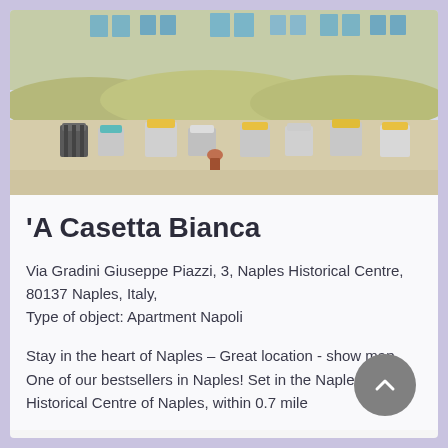[Figure (photo): Beach scene with hooded wicker beach chairs on sandy shore, colorful beach houses with blue-green shutters in background]
'A Casetta Bianca
Via Gradini Giuseppe Piazzi, 3, Naples Historical Centre, 80137 Naples, Italy,
Type of object: Apartment Napoli
Stay in the heart of Naples – Great location - show map
One of our bestsellers in Naples! Set in the Naples Historical Centre of Naples, within 0.7 mile